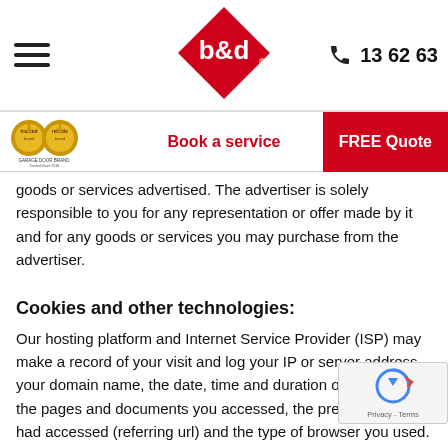[Figure (logo): b&d garage doors logo — red diamond shape with white b&d text inside]
[Figure (logo): Phone icon with number 13 62 63]
[Figure (logo): Trusted and Reliable Garage Door Brand badge — two gold circular medals]
Book a service
FREE Quote
goods or services advertised. The advertiser is solely responsible to you for any representation or offer made by it and for any goods or services you may purchase from the advertiser.
Cookies and other technologies:
Our hosting platform and Internet Service Provider (ISP) may make a record of your visit and log your IP or server address, your domain name, the date, time and duration of your visit, the pages and documents you accessed, the previous site you had accessed (referring url) and the type of browser you used. This information collected for statistical purposes only, and we do not make any